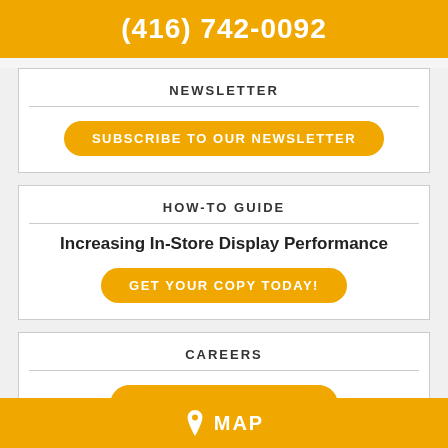(416) 742-0092
NEWSLETTER
SUBSCRIBE TO OUR NEWSLETTER
HOW-TO GUIDE
Increasing In-Store Display Performance
GET YOUR COPY TODAY!
CAREERS
SEE OUR CAREERS
MAP